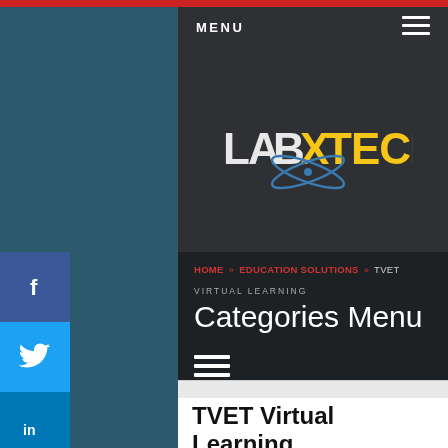MENU
[Figure (logo): LabXTech logo with stylized atom graphic, text LAB with X and TECH in yellow and white]
HOME » EDUCATION SOLUTIONS » TVET
VIRTUAL LEARNING
Categories Menu
TVET Virtual Learning